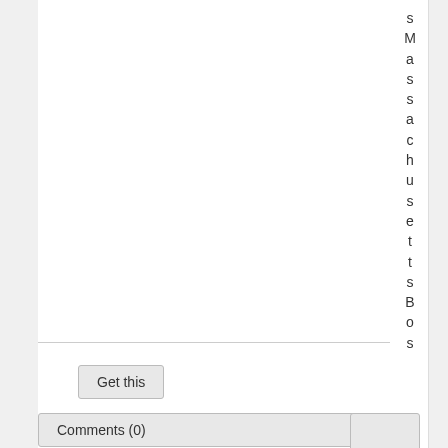sMassachusettsBoston.
Get this
Comments (0)